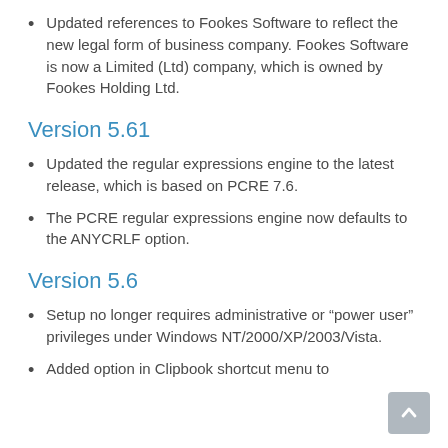Updated references to Fookes Software to reflect the new legal form of business company. Fookes Software is now a Limited (Ltd) company, which is owned by Fookes Holding Ltd.
Version 5.61
Updated the regular expressions engine to the latest release, which is based on PCRE 7.6.
The PCRE regular expressions engine now defaults to the ANYCRLF option.
Version 5.6
Setup no longer requires administrative or “power user” privileges under Windows NT/2000/XP/2003/Vista.
Added option in Clipbook shortcut menu to